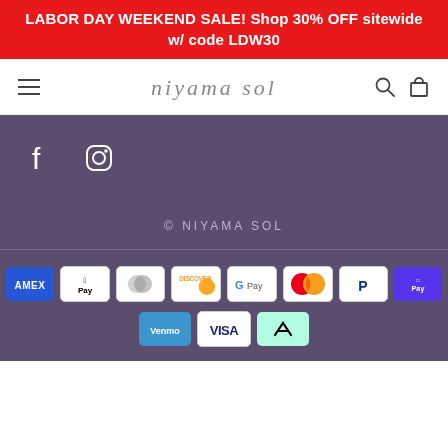LABOR DAY WEEKEND SALE! Shop 30% OFF sitewide w/ code LDW30
[Figure (screenshot): Niyama Sol website header with hamburger menu, script logo 'niyama sol', search and cart icons]
[Figure (screenshot): Social media icons for Facebook and Instagram on dark purple background]
© NIYAMA SOL
[Figure (screenshot): Payment method icons: Amex, Apple Pay, Diners Club, Discover, Google Pay, Mastercard, PayPal, Shop Pay, Venmo, Visa, Afterpay]